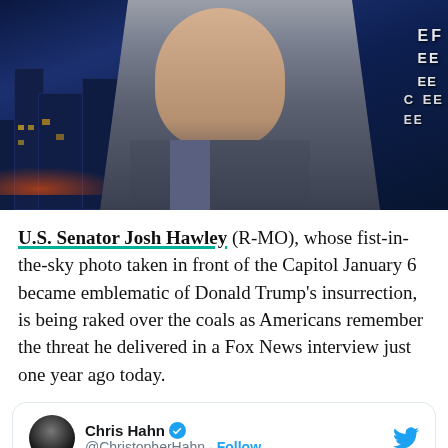[Figure (photo): Screenshot of a man appearing on a television news broadcast with a dark blue city skyline background with TV graphic text overlays on the right side.]
U.S. Senator Josh Hawley (R-MO), whose fist-in-the-sky photo taken in front of the Capitol January 6 became emblematic of Donald Trump's insurrection, is being raked over the coals as Americans remember the threat he delivered in a Fox News interview just one year ago today.
Chris Hahn @ChristopherHahn · Follow
When you look up traitor in the dictionary you should find this picture of Josh Hawley